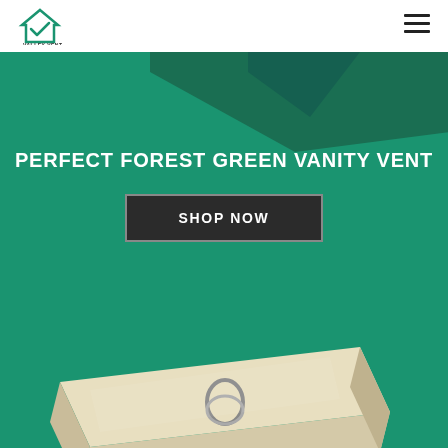[Figure (logo): Valley Vents logo — house outline with checkmark, text VALLEY VENTS below]
[Figure (other): Hamburger menu icon (three horizontal lines) in top-right corner]
[Figure (other): Dark forest green triangular/diamond geometric shape partially visible at top of green hero section]
PERFECT FOREST GREEN VANITY VENT
[Figure (other): Dark rectangular button labeled SHOP NOW]
[Figure (photo): 3D product photo of a cream/beige colored vanity vent cover with a ring pull handle, shown in perspective view on green background]